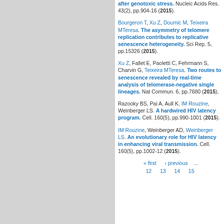after genotoxic stress. Nucleic Acids Res. 43(2), pp.904-16 (2015).
Bourgeron T, Xu Z, Doumic M, Teixeira MTeresa. The asymmetry of telomere replication contributes to replicative senescence heterogeneity. Sci Rep. 5, pp.15326 (2015).
Xu Z, Fallet E, Paoletti C, Fehrmann S, Charvin G, Teixeira MTeresa. Two routes to senescence revealed by real-time analysis of telomerase-negative single lineages. Nat Commun. 6, pp.7680 (2015).
Razooky BS, Pai A, Aull K, IM Rouzine, Weinberger LS. A hardwired HIV latency program. Cell. 160(5), pp.990-1001 (2015).
IM Rouzine, Weinberger AD, Weinberger LS. An evolutionary role for HIV latency in enhancing viral transmission. Cell. 160(5), pp.1002-12 (2015).
« first ‹ previous ... 12 13 14 15